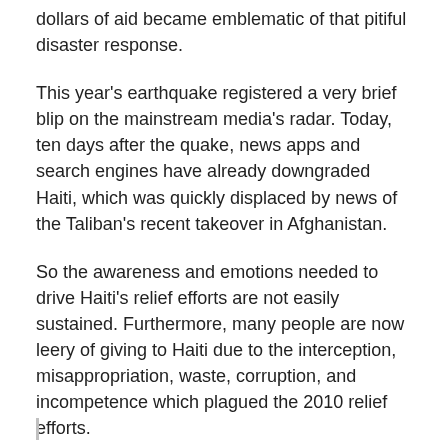dollars of aid became emblematic of that pitiful disaster response.
This year's earthquake registered a very brief blip on the mainstream media's radar. Today, ten days after the quake, news apps and search engines have already downgraded Haiti, which was quickly displaced by news of the Taliban's recent takeover in Afghanistan.
So the awareness and emotions needed to drive Haiti's relief efforts are not easily sustained. Furthermore, many people are now leery of giving to Haiti due to the interception, misappropriation, waste, corruption, and incompetence which plagued the 2010 relief efforts.
So for those of us who know Haiti and want to help, what can we do? Where do we send money and supplies, and how?
The first lesson of 2010 is to give to reliable, in need, and on-the-ground relief efforts and networks rather than large Non-Governmental Organisations (NGOs) which have high overhead costs, cumbersome bureaucracies, and often skewed priorities out of touch with those of local people.